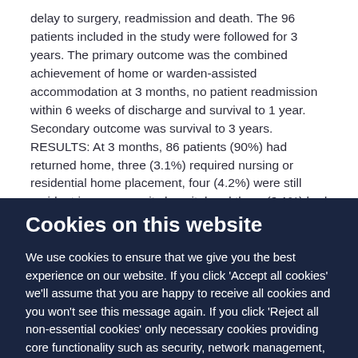delay to surgery, readmission and death. The 96 patients included in the study were followed for 3 years. The primary outcome was the combined achievement of home or warden-assisted accommodation at 3 months, no patient readmission within 6 weeks of discharge and survival to 1 year. Secondary outcome was survival to 3 years. RESULTS: At 3 months, 86 patients (90%) had returned home, three (3.1%) required nursing or residential home placement, four (4.2%) were still resident in a community hospital and three (3.1%) had died. A total of ten patients failed to return to their own home. Eight
Cookies on this website
We use cookies to ensure that we give you the best experience on our website. If you click 'Accept all cookies' we'll assume that you are happy to receive all cookies and you won't see this message again. If you click 'Reject all non-essential cookies' only necessary cookies providing core functionality such as security, network management,